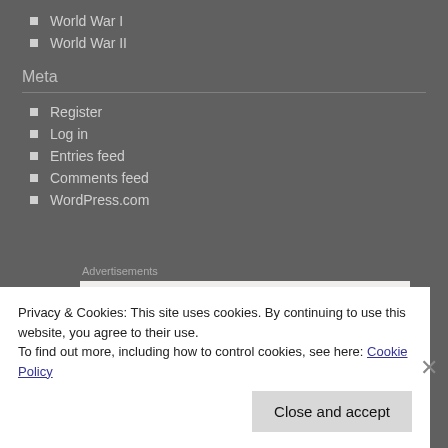World War I
World War II
Meta
Register
Log in
Entries feed
Comments feed
WordPress.com
Advertisements
[Figure (other): Advertisement box showing partial text 'Business in']
Privacy & Cookies: This site uses cookies. By continuing to use this website, you agree to their use. To find out more, including how to control cookies, see here: Cookie Policy
Close and accept